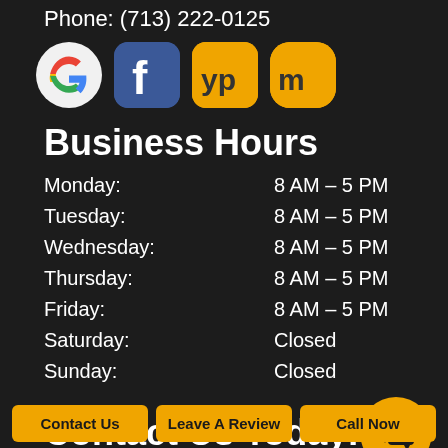Phone: (713) 222-0125
[Figure (logo): Social media icons: Google, Facebook, YP (Yellow Pages), Manta]
Business Hours
| Day | Hours |
| --- | --- |
| Monday: | 8 AM – 5 PM |
| Tuesday: | 8 AM – 5 PM |
| Wednesday: | 8 AM – 5 PM |
| Thursday: | 8 AM – 5 PM |
| Friday: | 8 AM – 5 PM |
| Saturday: | Closed |
| Sunday: | Closed |
Contact Us Today!
Contact Us | Leave A Review | Call Now